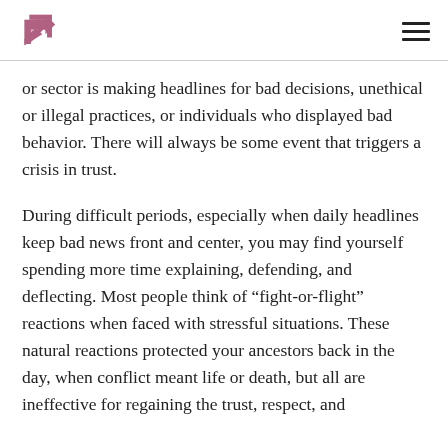[Logo: stylized R mark] [Hamburger menu icon]
or sector is making headlines for bad decisions, unethical or illegal practices, or individuals who displayed bad behavior. There will always be some event that triggers a crisis in trust.
During difficult periods, especially when daily headlines keep bad news front and center, you may find yourself spending more time explaining, defending, and deflecting. Most people think of “fight-or-flight” reactions when faced with stressful situations. These natural reactions protected your ancestors back in the day, when conflict meant life or death, but all are ineffective for regaining the trust, respect, and